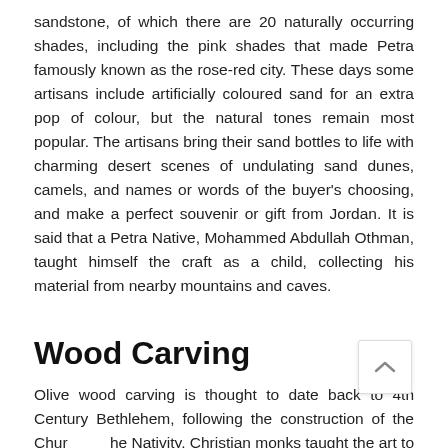sandstone, of which there are 20 naturally occurring shades, including the pink shades that made Petra famously known as the rose-red city. These days some artisans include artificially coloured sand for an extra pop of colour, but the natural tones remain most popular. The artisans bring their sand bottles to life with charming desert scenes of undulating sand dunes, camels, and names or words of the buyer's choosing, and make a perfect souvenir or gift from Jordan. It is said that a Petra Native, Mohammed Abdullah Othman, taught himself the craft as a child, collecting his material from nearby mountains and caves.
Wood Carving
Olive wood carving is thought to date back to 4th Century Bethlehem, following the construction of the Church of the Nativity. Christian monks taught the art to the city's residents. Palestinian settling in Jordan brought the art with